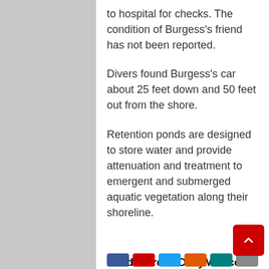to hospital for checks. The condition of Burgess's friend has not been reported.
Divers found Burgess's car about 25 feet down and 50 feet out from the shore.
Retention ponds are designed to store water and provide attenuation and treatment to emergent and submerged aquatic vegetation along their shoreline.
Read more at DailyMail.co.uk
Share this...